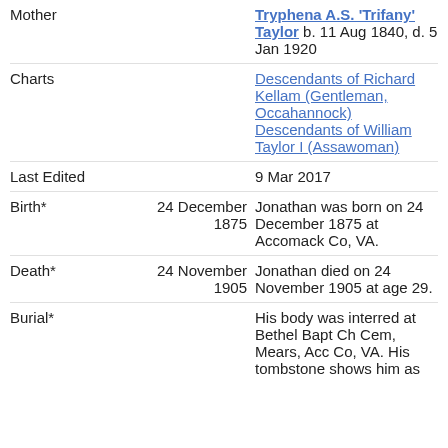| Field | Date | Details |
| --- | --- | --- |
| Mother |  | Tryphena A.S. 'Trifany' Taylor b. 11 Aug 1840, d. 5 Jan 1920 |
| Charts |  | Descendants of Richard Kellam (Gentleman, Occahannock) Descendants of William Taylor I (Assawoman) |
| Last Edited |  | 9 Mar 2017 |
| Birth* | 24 December 1875 | Jonathan was born on 24 December 1875 at Accomack Co, VA. |
| Death* | 24 November 1905 | Jonathan died on 24 November 1905 at age 29. |
| Burial* |  | His body was interred at Bethel Bapt Ch Cem, Mears, Acc Co, VA. His tombstone shows him as Jonathan W. Mears, 24 |